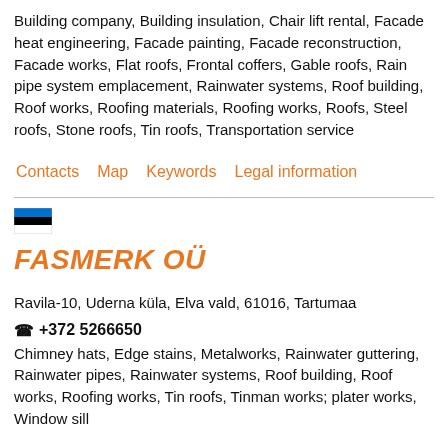Building company, Building insulation, Chair lift rental, Facade heat engineering, Facade painting, Facade reconstruction, Facade works, Flat roofs, Frontal coffers, Gable roofs, Rain pipe system emplacement, Rainwater systems, Roof building, Roof works, Roofing materials, Roofing works, Roofs, Steel roofs, Stone roofs, Tin roofs, Transportation service
Contacts   Map   Keywords   Legal information
FASMERK OÜ
Ravila-10, Uderna küla, Elva vald, 61016, Tartumaa
☎ +372 5266650
Chimney hats, Edge stains, Metalworks, Rainwater guttering, Rainwater pipes, Rainwater systems, Roof building, Roof works, Roofing works, Tin roofs, Tinman works; plater works, Window sill